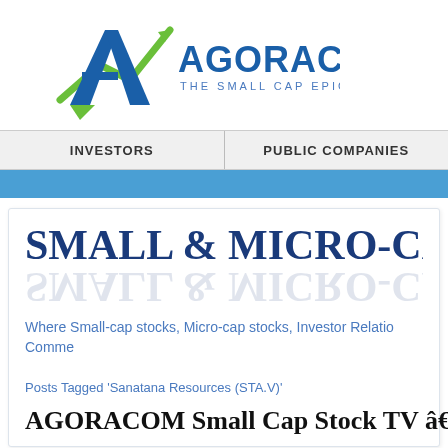[Figure (logo): AGORACOM logo with stylized A and upward arrow, blue and green colors, with tagline 'THE SMALL CAP EPICENTER']
INVESTORS | PUBLIC COMPANIES
SMALL & MICRO-CA
Where Small-cap stocks, Micro-cap stocks, Investor Relatio... Comme...
Posts Tagged 'Sanatana Resources (STA.V)'
AGORACOM Small Cap Stock TV â€